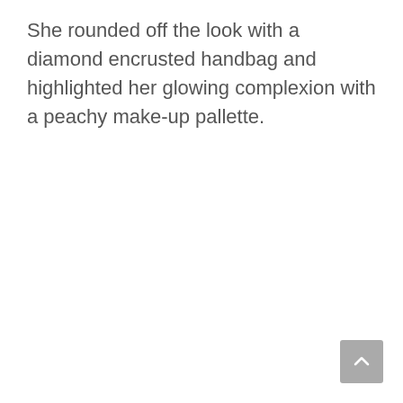She rounded off the look with a diamond encrusted handbag and highlighted her glowing complexion with a peachy make-up pallette.
[Figure (other): A grey square scroll-to-top button with an upward-pointing chevron arrow, positioned in the bottom-right corner of the page.]